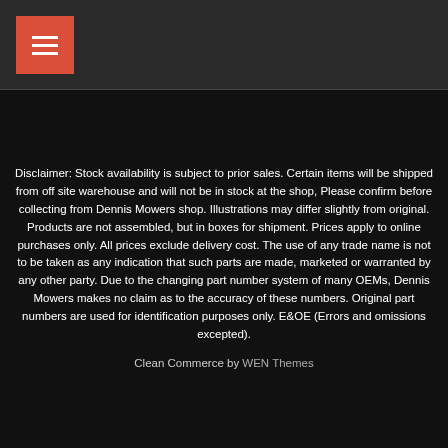Disclaimer: Stock availability is subject to prior sales. Certain items will be shipped from off site warehouse and will not be in stock at the shop, Please confirm before collecting from Dennis Mowers shop. Illustrations may differ slightly from original. Products are not assembled, but in boxes for shipment. Prices apply to online purchases only. All prices exclude delivery cost. The use of any trade name is not to be taken as any indication that such parts are made, marketed or warranted by any other party. Due to the changing part number system of many OEMs, Dennis Mowers makes no claim as to the accuracy of these numbers. Original part numbers are used for identification purposes only. E&OE (Errors and omissions excepted).
Clean Commerce by WEN Themes